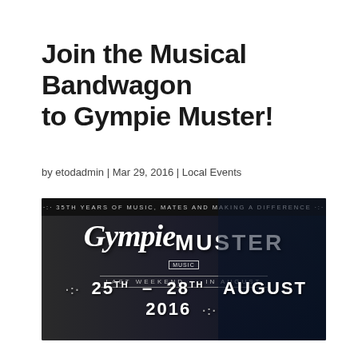Join the Musical Bandwagon to Gympie Muster!
by etodadmin | Mar 29, 2016 | Local Events
[Figure (illustration): Gympie Music Muster event banner: dark background with crowd on left, performer on right. Text reads '35th Years of Music, Mates and Making a Difference', 'Gympie Music Muster Last Weekend in August', '25th - 28th August 2016']